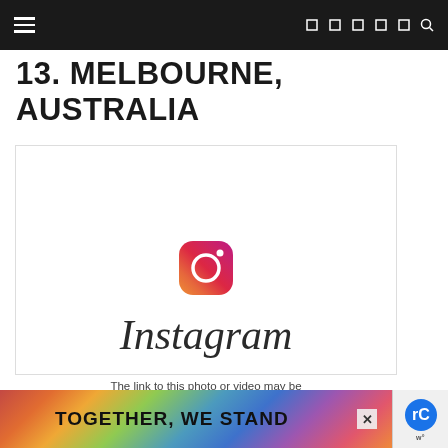Navigation header with hamburger menu and social icons
13. MELBOURNE, AUSTRALIA
[Figure (screenshot): Instagram embed placeholder showing Instagram logo (camera icon) and Instagram wordmark, with text 'The link to this photo or video may be']
The link to this photo or video may be
[Figure (infographic): Advertisement banner reading TOGETHER, WE STAND with colorful abstract shapes]